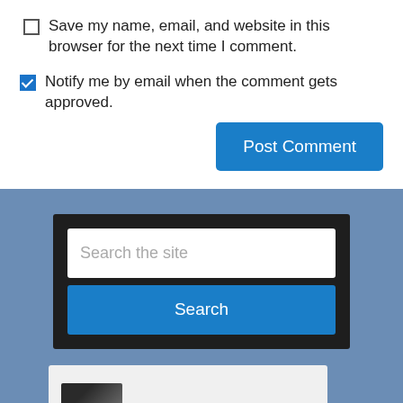Save my name, email, and website in this browser for the next time I comment.
Notify me by email when the comment gets approved.
Post Comment
Search the site
Search
HOW TO WRITE A